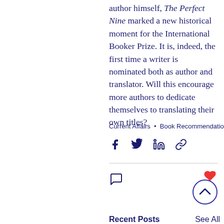author himself, The Perfect Nine marked a new historical moment for the International Booker Prize. It is, indeed, the first time a writer is nominated both as author and translator. Will this encourage more authors to dedicate themselves to translating their own titles?
Current Affairs • Book Recommendations
[Figure (other): Social sharing icons: Facebook, Twitter, LinkedIn, and link/chain icon]
[Figure (other): Comment icon (speech bubble) on left; heart icon above a circle with up-chevron on right]
Recent Posts
See All
[Figure (photo): Partial view of two images at bottom of page: a colorful pink/orange abstract image and a tan/wood-colored image, partially cropped]